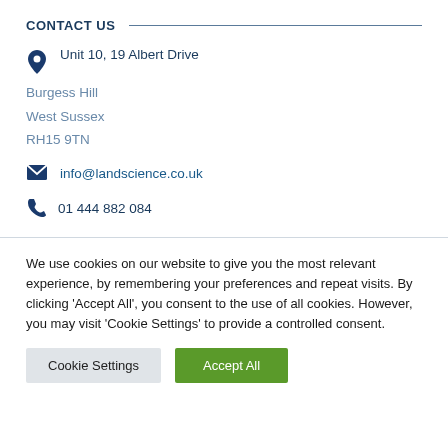CONTACT US
Unit 10, 19 Albert Drive
Burgess Hill
West Sussex
RH15 9TN
info@landscience.co.uk
01 444 882 084
We use cookies on our website to give you the most relevant experience, by remembering your preferences and repeat visits. By clicking 'Accept All', you consent to the use of all cookies. However, you may visit 'Cookie Settings' to provide a controlled consent.
Cookie Settings
Accept All